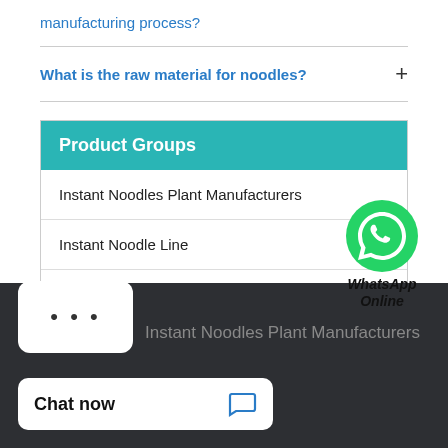manufacturing process?
What is the raw material for noodles?
Product Groups
Instant Noodles Plant Manufacturers
Instant Noodle Line
Cup Noodles Processing Line
[Figure (logo): WhatsApp green circle icon with phone handset, labeled WhatsApp Online]
×
...
Instant Noodles Plant Manufacturers
Chat now